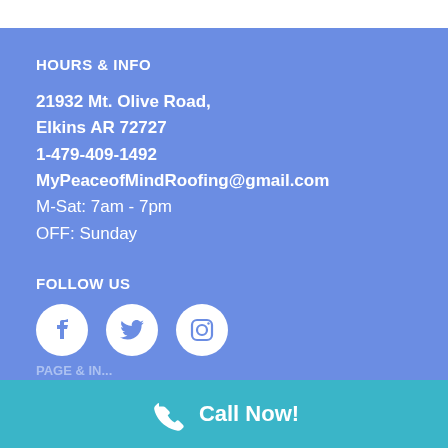HOURS & INFO
21932 Mt. Olive Road,
Elkins AR 72727
1-479-409-1492
MyPeaceofMindRoofing@gmail.com
M-Sat: 7am - 7pm
OFF: Sunday
FOLLOW US
[Figure (other): Social media icons: Facebook, Twitter, Instagram]
Call Now!